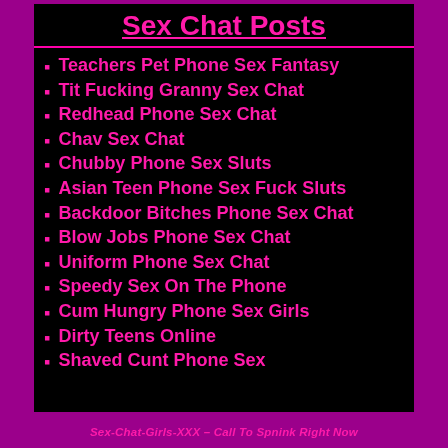Sex Chat Posts
Teachers Pet Phone Sex Fantasy
Tit Fucking Granny Sex Chat
Redhead Phone Sex Chat
Chav Sex Chat
Chubby Phone Sex Sluts
Asian Teen Phone Sex Fuck Sluts
Backdoor Bitches Phone Sex Chat
Blow Jobs Phone Sex Chat
Uniform Phone Sex Chat
Speedy Sex On The Phone
Cum Hungry Phone Sex Girls
Dirty Teens Online
Shaved Cunt Phone Sex
Sex-Chat-Girls-XXX – Call To Spnink Right Now